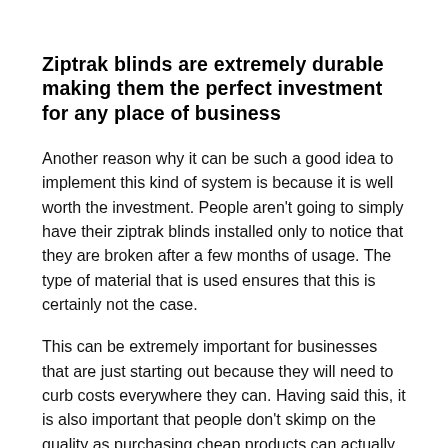Ziptrak blinds are extremely durable making them the perfect investment for any place of business
Another reason why it can be such a good idea to implement this kind of system is because it is well worth the investment. People aren't going to simply have their ziptrak blinds installed only to notice that they are broken after a few months of usage. The type of material that is used ensures that this is certainly not the case.
This can be extremely important for businesses that are just starting out because they will need to curb costs everywhere they can. Having said this, it is also important that people don't skimp on the quality as purchasing cheap products can actually cost them more in the long run. Because of this, it is crucial that business owners and managers do their best to fit superior products.